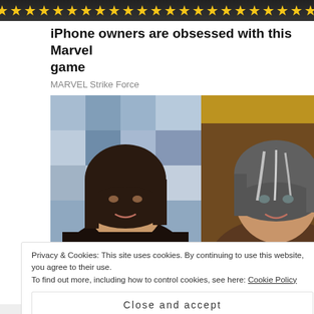[Figure (illustration): Ad banner with yellow stars on dark background at top of page]
iPhone owners are obsessed with this Marvel game
MARVEL Strike Force
[Figure (photo): Two side-by-side photos of the same woman: left photo shows her with dark brown hair against a patchwork quilt background; right photo shows her with gray-streaked shorter hair in a warmly lit room]
Privacy & Cookies: This site uses cookies. By continuing to use this website, you agree to their use.
To find out more, including how to control cookies, see here: Cookie Policy
Close and accept